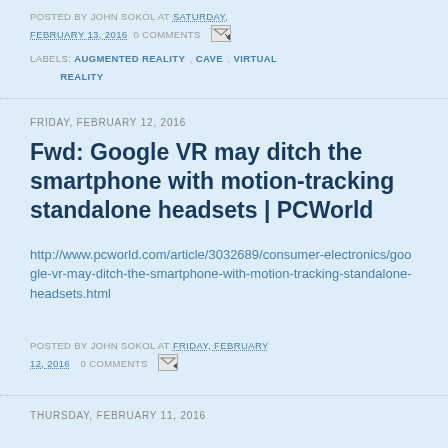POSTED BY JOHN SOKOL AT SATURDAY, FEBRUARY 13, 2016  0 COMMENTS
LABELS: AUGMENTED REALITY, CAVE, VIRTUAL REALITY
FRIDAY, FEBRUARY 12, 2016
Fwd: Google VR may ditch the smartphone with motion-tracking standalone headsets | PCWorld
http://www.pcworld.com/article/3032689/consumer-electronics/google-vr-may-ditch-the-smartphone-with-motion-tracking-standalone-headsets.html
POSTED BY JOHN SOKOL AT FRIDAY, FEBRUARY 12, 2016  0 COMMENTS
THURSDAY, FEBRUARY 11, 2016